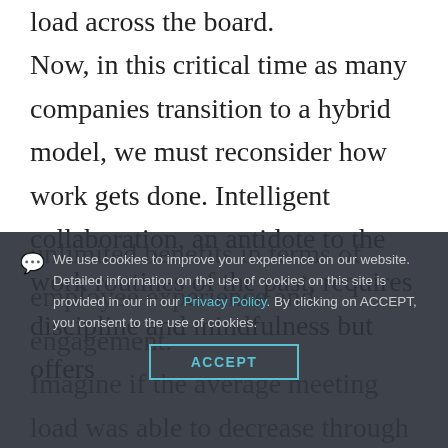load across the board. Now, in this critical time as many companies transition to a hybrid model, we must reconsider how work gets done. Intelligent collaboration, an antidote to the work routines of the past, requires discipline and mindfulness but offers unlimited benefits in terms of employee experience and engagement. Imagine if the average meeting load was able to decrease through better design, and facilitation, and the productivity and sense of accomplishment could increase through greater focus and prioritization.
We use cookies to improve your experience on our website. Detailed information on the use of cookies on this site is provided in our in our Privacy Policy. By clicking on ACCEPT, you consent to the use of cookies.